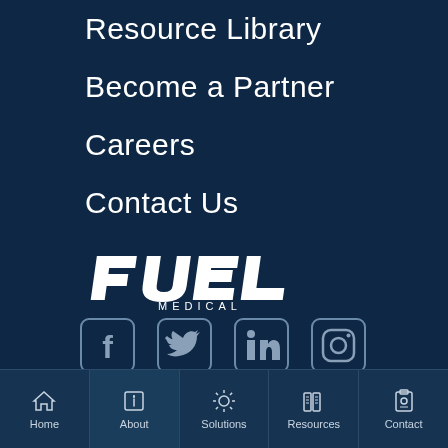Resource Library
Become a Partner
Careers
Contact Us
[Figure (logo): Fuel Medical logo in white text on dark navy background]
[Figure (infographic): Social media icons: Facebook, Twitter, LinkedIn, Instagram]
Home | About | Solutions | Resources | Contact